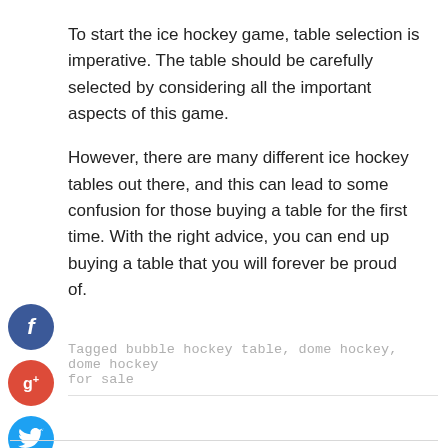To start the ice hockey game, table selection is imperative. The table should be carefully selected by considering all the important aspects of this game.
However, there are many different ice hockey tables out there, and this can lead to some confusion for those buying a table for the first time. With the right advice, you can end up buying a table that you will forever be proud of.
[Figure (illustration): Social media share icons: Facebook (blue circle with f), Google+ (red circle with g+), Twitter (blue circle with bird), and a plus/add button (dark blue circle with +)]
Tagged bubble hockey table, dome hockey, dome hockey for sale